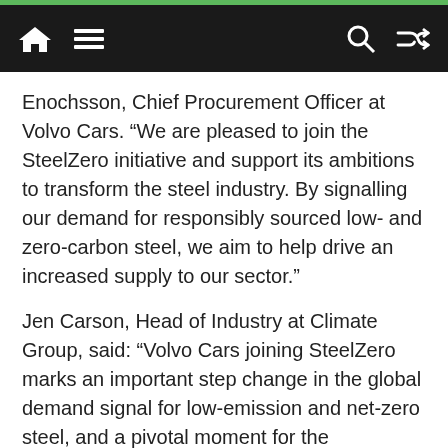[Navigation bar with home, menu, search, and shuffle icons]
Enochsson, Chief Procurement Officer at Volvo Cars. “We are pleased to join the SteelZero initiative and support its ambitions to transform the steel industry. By signalling our demand for responsibly sourced low- and zero-carbon steel, we aim to help drive an increased supply to our sector.”
Jen Carson, Head of Industry at Climate Group, said: “Volvo Cars joining SteelZero marks an important step change in the global demand signal for low-emission and net-zero steel, and a pivotal moment for the automotive industry. This sector plays a central role in driving the net-zero transition of steel. It is supporting the creation of a decarbonised steel market internationally that